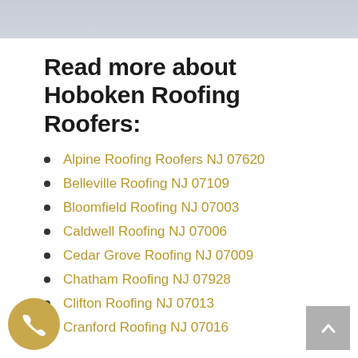[Figure (photo): Partial photo of a person visible at the top of the page, cropped]
Read more about Hoboken Roofing Roofers:
Alpine Roofing Roofers NJ 07620
Belleville Roofing NJ 07109
Bloomfield Roofing NJ 07003
Caldwell Roofing NJ 07006
Cedar Grove Roofing NJ 07009
Chatham Roofing NJ 07928
Clifton Roofing NJ 07013
Cranford Roofing NJ 07016